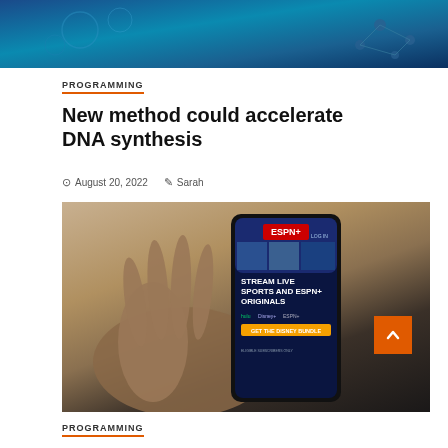[Figure (photo): Top banner image with blue/teal DNA or technology graphic background]
PROGRAMMING
New method could accelerate DNA synthesis
August 20, 2022   Sarah
[Figure (photo): Hand holding a smartphone showing ESPN+ streaming app with text STREAM LIVE SPORTS AND ESPN+ ORIGINALS and a Disney Bundle button. Badge reads '3 min read'.]
PROGRAMMING